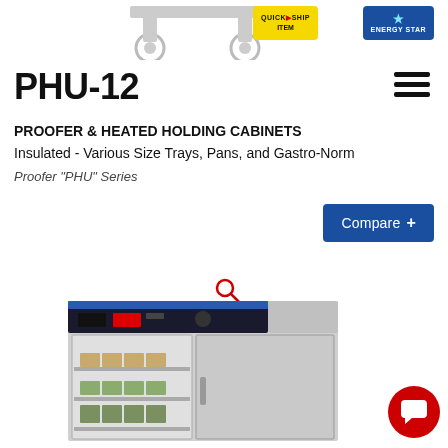[Figure (photo): Top portion of a proofer/heated holding cabinet on casters, with QuickShip and Energy Star badges]
[Figure (illustration): Hamburger menu icon (three horizontal lines)]
PHU-12
PROOFER & HEATED HOLDING CABINETS
Insulated - Various Size Trays, Pans, and Gastro-Norm
Proofer "PHU" Series
[Figure (illustration): Blue Compare + button]
[Figure (illustration): Red magnifying glass search icon]
[Figure (photo): PHU-12 Proofer and Heated Holding Cabinet with open door showing shelves with food items]
[Figure (illustration): Red circular chat/message button in bottom right corner]